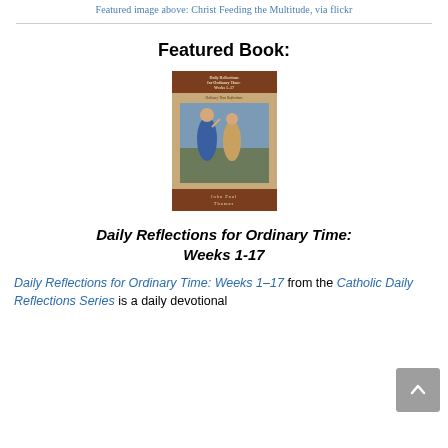Featured image above: Christ Feeding the Multitude, via flickr
Featured Book:
[Figure (photo): Book cover of 'Daily Reflections for Ordinary Time: Weeks 1-17' by John Paul Thomas, showing a classical painting of two figures and a parchment-style background with brown header and footer bands.]
Daily Reflections for Ordinary Time: Weeks 1-17
Daily Reflections for Ordinary Time: Weeks 1–17 from the Catholic Daily Reflections Series is a daily devotional